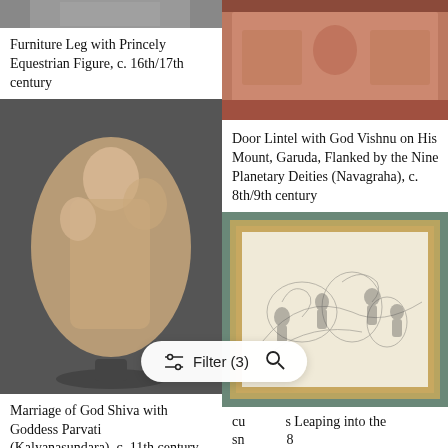[Figure (photo): Bottom portion of a furniture leg artifact (cropped gray background)]
Furniture Leg with Princely Equestrian Figure, c. 16th/17th century
[Figure (photo): Stone sculpture: Marriage of God Shiva with Goddess Parvati, with figures and elephant head visible, dark background]
Marriage of God Shiva with Goddess Parvati (Kalyanasundara), c. 11th century
[Figure (photo): Red sandstone door lintel with carved figures and floral decoration]
Door Lintel with God Vishnu on His Mount, Garuda, Flanked by the Nine Planetary Deities (Navagraha), c. 8th/9th century
[Figure (photo): Framed drawing or print showing figures in a landscape scene, with gray-green matting]
cu[pids] Leaping into the sn[ow], [17]8[0s?]
Giovanni Paolo Panini
Filter (3)